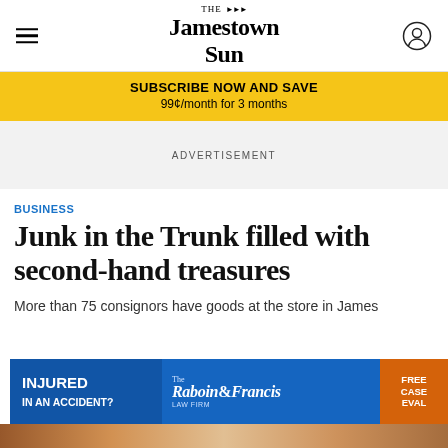The Jamestown Sun
SUBSCRIBE NOW AND SAVE
99¢/month for 3 months
ADVERTISEMENT
BUSINESS
Junk in the Trunk filled with second-hand treasures
More than 75 consignors have goods at the store in Jame...
[Figure (other): Advertisement banner: INJURED IN AN ACCIDENT? Raboin & Francis Law Firm — FREE CASE EVAL]
[Figure (photo): Photo strip at the bottom of the page showing merchandise]